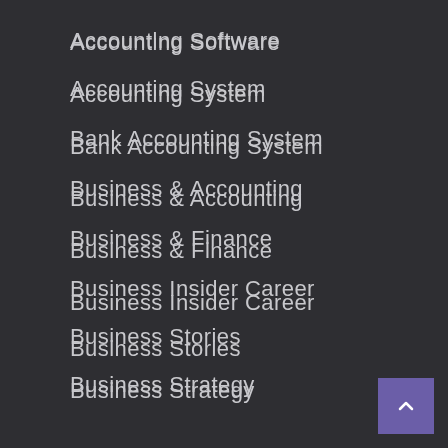Accounting Software
Accounting System
Bank Accounting System
Business & Accounting
Business & Finance
Business Insider Career
Business Stories
Business Strategy
Business Today
Forex Trading